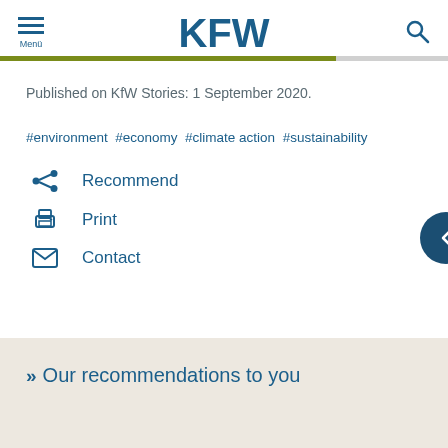KfW
Published on KfW Stories: 1 September 2020.
#environment #economy #climate action #sustainability
Recommend
Print
Contact
Our recommendations to you